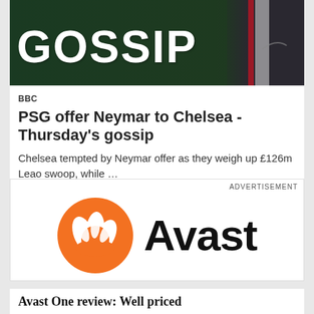[Figure (photo): Dark green background with large white bold text 'GOSSIP' and a PSG football player visible on the right side]
BBC
PSG offer Neymar to Chelsea - Thursday's gossip
Chelsea tempted by Neymar offer as they weigh up £126m Leao swoop, while …
ADVERTISEMENT
[Figure (logo): Avast logo: orange circle with white wing/claw shape and 'Avast' text in bold black]
Avast One review: Well priced